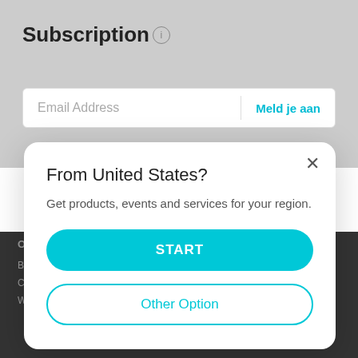Subscription ℹ
Email Address
Meld je aan
[Figure (screenshot): Modal dialog box on a website. Title: 'From United States?' Subtitle: 'Get products, events and services for your region.' Two buttons: 'START' (teal/filled) and 'Other Option' (outline). Close X button in top right.]
Over ons
Pers & Media
Waar te Koop
Bedrijfsprofiel
Nieuws
Distributeurs
Contact
Awards
Detailhandel
Werken bij TP-Link
Beveiligingsadvies
B2B Partners